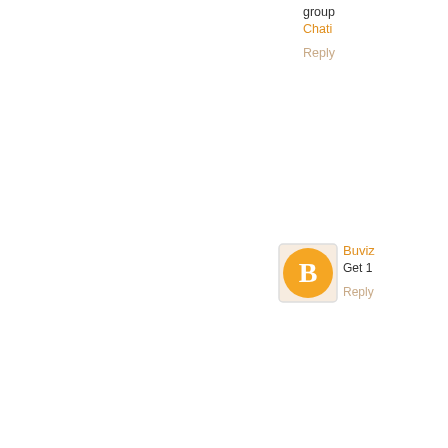group
Chati
Reply
Buviz
Get 1
Reply
Johns
Our o all. N online
Reply
Johns
Our o all. N online
Reply